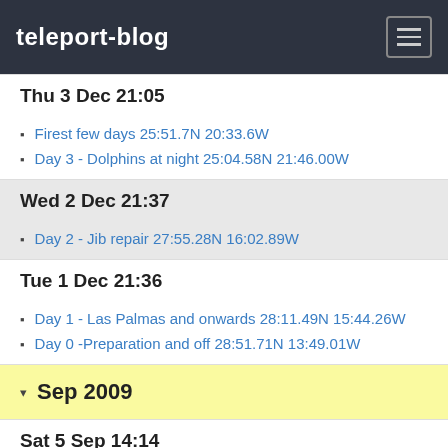teleport-blog
Thu 3 Dec 21:05
Firest few days 25:51.7N 20:33.6W
Day 3 - Dolphins at night 25:04.58N 21:46.00W
Wed 2 Dec 21:37
Day 2 - Jib repair 27:55.28N 16:02.89W
Tue 1 Dec 21:36
Day 1 - Las Palmas and onwards 28:11.49N 15:44.26W
Day 0 -Preparation and off 28:51.71N 13:49.01W
Sep 2009
Sat 5 Sep 14:14
Pictures of the passage to Marina Rubicon, Lanzarote
Tue 1 Sep 23:24
Bit of a blow
Aug 2009
Sun 30 Aug 18:37